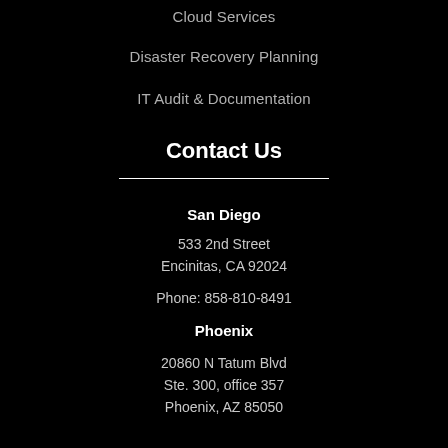Cloud Services
Disaster Recovery Planning
IT Audit & Documentation
Contact Us
San Diego
533 2nd Street
Encinitas, CA 92024
Phone: 858-810-8491
Phoenix
20860 N Tatum Blvd
Ste. 300, office 357
Phoenix, AZ 85050